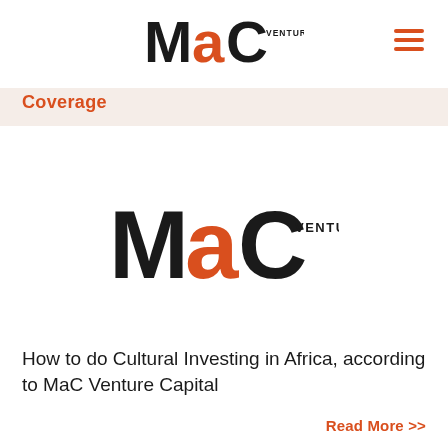MaC Venture Capital
Coverage
[Figure (logo): MaC Venture Capital logo — stylized M, orange lowercase a, large C with 'VENTURE CAPITAL' text]
How to do Cultural Investing in Africa, according to MaC Venture Capital
Read More >>